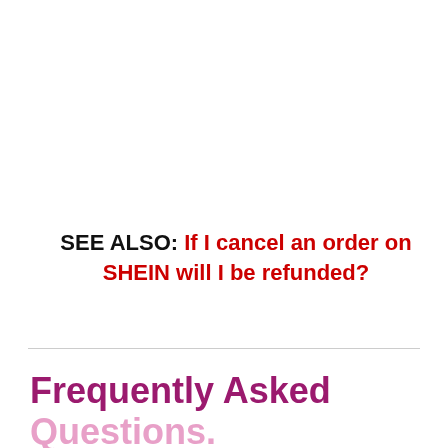SEE ALSO: If I cancel an order on SHEIN will I be refunded?
Frequently Asked Questions.